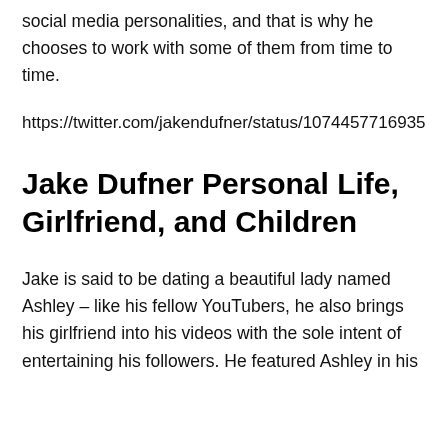social media personalities, and that is why he chooses to work with some of them from time to time.
https://twitter.com/jakendufner/status/1074457716935
Jake Dufner Personal Life, Girlfriend, and Children
Jake is said to be dating a beautiful lady named Ashley – like his fellow YouTubers, he also brings his girlfriend into his videos with the sole intent of entertaining his followers. He featured Ashley in his